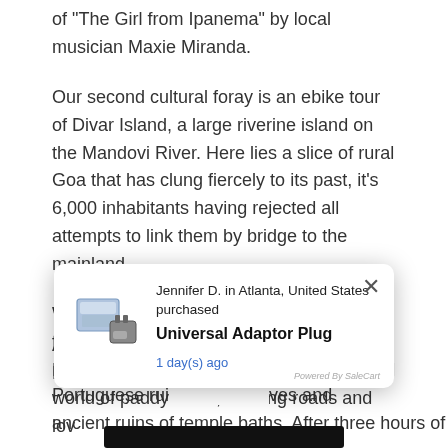of "The Girl from Ipanema" by local musician Maxie Miranda.
Our second cultural foray is an ebike tour of Divar Island, a large riverine island on the Mandovi River. Here lies a slice of rural Goa that has clung fiercely to its past, it's 6,000 inhabitants having rejected all attempts to link them by bridge to the mainland.
We wheel our bikes onto a battered old car ferry that chugs its way across the Mandovi and are transported into a tranquil world of paddy fields, winding roads and lov...
[Figure (screenshot): A purchase notification popup showing: 'Jennifer D. in Atlanta, United States purchased Universal Adaptor Plug 1 day(s) ago' with a product image and a close (×) button. Powered by SaleCart branding at bottom right.]
All ... Hindu ... Portuguese rui... oves and ancient ruins of temple baths. After three hours of